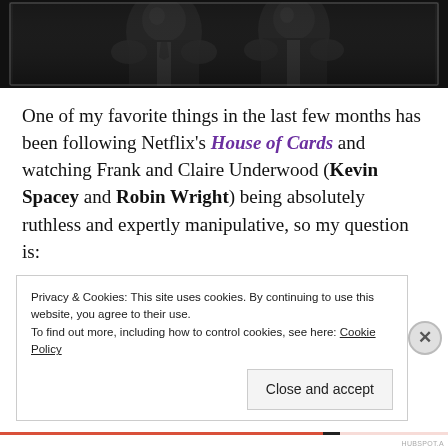[Figure (photo): Dark black and white photo showing two figures in formal attire, dimly lit against a dark background]
One of my favorite things in the last few months has been following Netflix's House of Cards and watching Frank and Claire Underwood (Kevin Spacey and Robin Wright) being absolutely ruthless and expertly manipulative, so my question is:
Privacy & Cookies: This site uses cookies. By continuing to use this website, you agree to their use. To find out more, including how to control cookies, see here: Cookie Policy
Close and accept